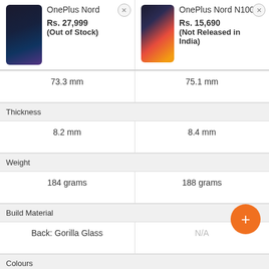| OnePlus Nord | OnePlus Nord N100 |
| --- | --- |
| 73.3 mm | 75.1 mm |
| Thickness |  |
| 8.2 mm | 8.4 mm |
| Weight |  |
| 184 grams | 188 grams |
| Build Material |  |
| Back: Gorilla Glass | N/A |
| Colours |  |
| Blue Marble
Gray Onyx | Midnight Frost |